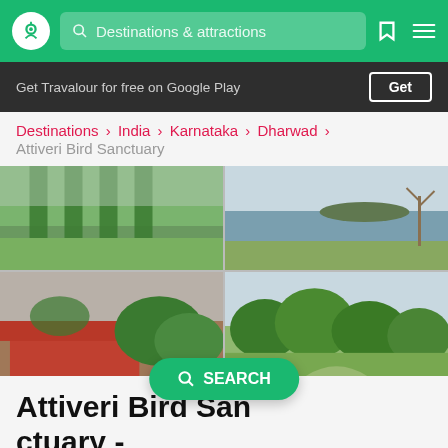Travalour navigation bar with logo, search box 'Destinations & attractions', bookmark and menu icons
Get Travalour for free on Google Play   [Get]
Destinations › India › Karnataka › Dharwad › Attiveri Bird Sanctuary
[Figure (photo): Four-panel photo grid of Attiveri Bird Sanctuary: top-left shows green pillars/columns, top-right shows a lake with green grass, bottom-left shows a red-roofed building with vegetation, bottom-right shows trees and sky]
Attiveri Bird Sanctuary - Things to Know Before
SEARCH (floating button)